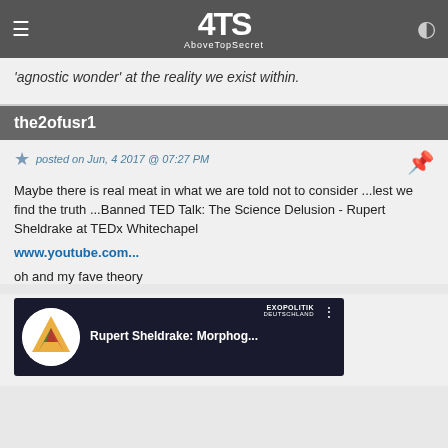AboveTopSecret (ATS) - navigation header
'agnostic wonder' at the reality we exist within.
the2ofusr1
posted on Jun, 4 2017 @ 07:27 PM
Maybe there is real meat in what we are told not to consider ...lest we find the truth ...Banned TED Talk: The Science Delusion - Rupert Sheldrake at TEDx Whitechapel
www.youtube.com...

oh and my fave theory
[Figure (screenshot): YouTube video thumbnail showing 'Rupert Sheldrake: Morphog...' with Exopolitik Deutschland branding and a person's face visible]